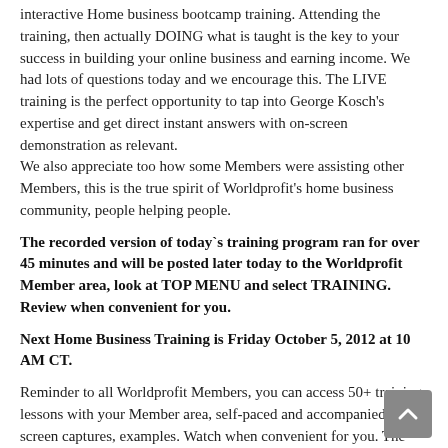interactive Home business bootcamp training. Attending the training, then actually DOING what is taught is the key to your success in building your online business and earning income. We had lots of questions today and we encourage this. The LIVE training is the perfect opportunity to tap into George Kosch's expertise and get direct instant answers with on-screen demonstration as relevant.
We also appreciate too how some Members were assisting other Members, this is the true spirit of Worldprofit's home business community, people helping people.
The recorded version of today`s training program ran for over 45 minutes and will be posted later today to the Worldprofit Member area, look at TOP MENU and select TRAINING. Review when convenient for you.
Next Home Business Training is Friday October 5, 2012 at 10 AM CT.
Reminder to all Worldprofit Members, you can access 50+ training lessons with your Member area, self-paced and accompanied by screen captures, examples. Watch when convenient for you. The online training videos, screen captures and lesson plans are included in your Silver or Platinum VIP Membership.